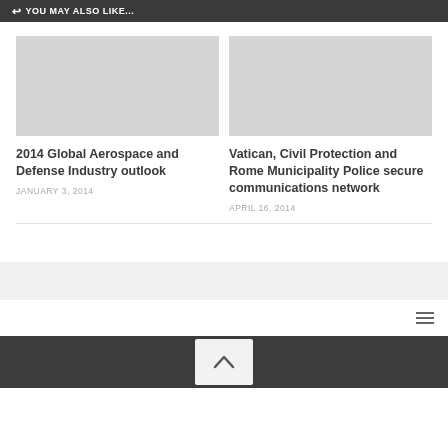YOU MAY ALSO LIKE...
[Figure (photo): Gray placeholder image for article 1]
2014 Global Aerospace and Defense Industry outlook
JANUARY 3, 2014
[Figure (photo): Gray placeholder image for article 2]
Vatican, Civil Protection and Rome Municipality Police secure communications network
APRIL 16, 2014
scroll to top button